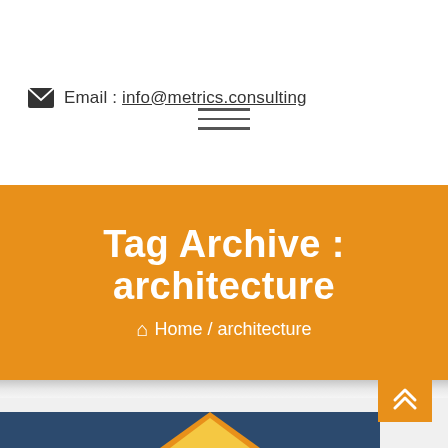Email : info@metrics.consulting
[Figure (screenshot): Hamburger menu icon with three horizontal lines]
Tag Archive : architecture
Home / architecture
[Figure (screenshot): Bottom content area with gray gradient shadow strip and partial blue banner with orange/yellow roof icon]